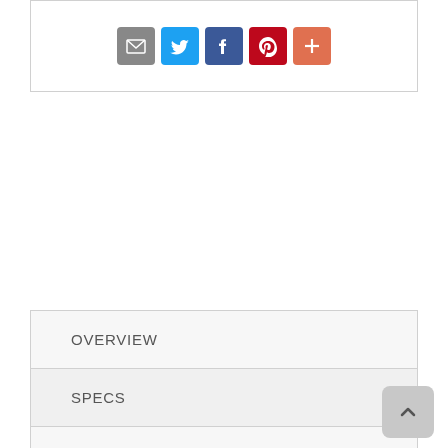[Figure (other): Social sharing icon buttons: email (grey), Twitter (blue), Facebook (dark blue), Pinterest (red), More/plus (orange-red)]
OVERVIEW
SPECS
DOCUMENTS
VIDEOS
DELIVERY
WARRANTY
With its clean-lined look and modern attitude,